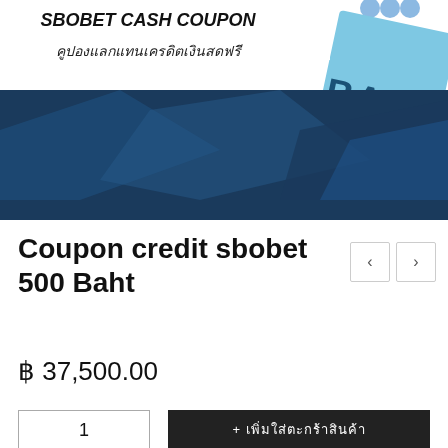[Figure (illustration): SBOBET Cash Coupon promotional banner with dark blue background, geometric shapes, and a light blue tag showing 'BAHT'. Thai text reads 'คูปองแลกแทนเครดิตเงินสดฟรี'. Text 'SBOBET CASH COUPON' in bold italic at top left.]
Coupon credit sbobet 500 Baht
฿ 37,500.00
+ เพิ่มใส่ตะกร้าสินค้า